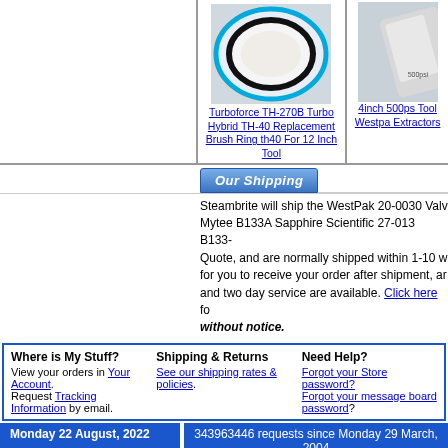[Figure (photo): Product image of Turboforce TH-270B Turbo Hybrid TH-40 Replacement Brush Ring showing an oval/circular brush ring from above]
Turboforce TH-270B Turbo Hybrid TH-40 Replacement Brush Ring th40 For 12 Inch Tool
[Figure (photo): Partially visible product image of 4inch 500psi Tool Westpak Extractors]
4inch 500psi Tool Westpa Extractors
Our Shipping
Steambrite will ship the WestPak 20-0030 Valve Mytee B133A Sapphire Scientific 27-013 B133- Quote, and are normally shipped within 1-10 w for you to receive your order after shipment, an and two day service are available. Click here fo without notice.
Where is My Stuff?
View your orders in Your Account.
Request Tracking Information by email.
Shipping & Returns
See our shipping rates & policies.
Need Help?
Forgot your Store password?
Forgot your message board password?
Monday 22 August, 2022
343963446 requests since Monday 29 March, 2004
[Figure (other): Payment method icons: Visa, MasterCard, Discover/Novus, PayPal]
1982 - 2018 Steambrite Sup Carpet Cleaning Machines||Truck Mo